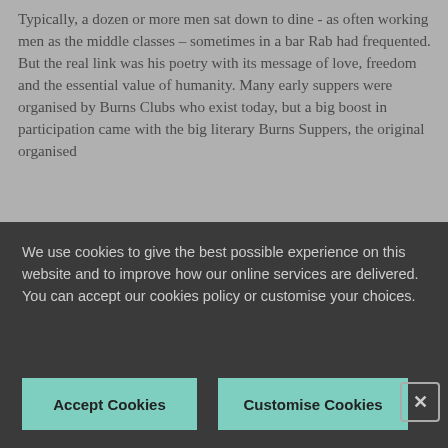Typically, a dozen or more men sat down to dine - as often working men as the middle classes – sometimes in a bar Rab had frequented. But the real link was his poetry with its message of love, freedom and the essential value of humanity. Many early suppers were organised by Burns Clubs who exist today, but a big boost in participation came with the big literary Burns Suppers, the original organised
We use cookies to give the best possible experience on this website and to improve how our online services are delivered. You can accept our cookies policy or customise your choices.
Accept Cookies
Customise Cookies
X